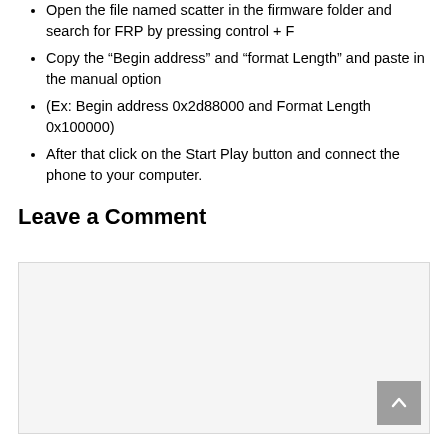Open the file named scatter in the firmware folder and search for FRP by pressing control + F
Copy the “Begin address” and “format Length” and paste in the manual option
(Ex: Begin address 0x2d88000 and Format Length 0x100000)
After that click on the Start Play button and connect the phone to your computer.
Leave a Comment